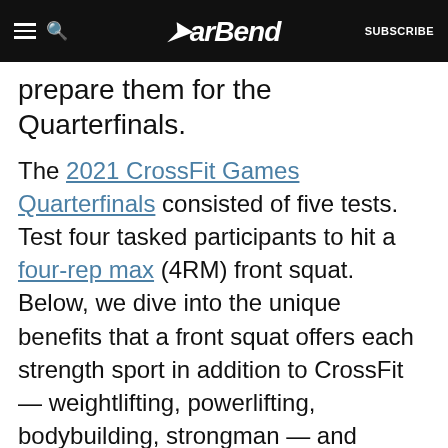BarBend — SUBSCRIBE
prepare them for the Quarterfinals.
The 2021 CrossFit Games Quarterfinals consisted of five tests. Test four tasked participants to hit a four-rep max (4RM) front squat. Below, we dive into the unique benefits that a front squat offers each strength sport in addition to CrossFit — weightlifting, powerlifting, bodybuilding, strongman — and highlight other heavy lifts by athletes in that sport.
CrossFit Quarterfinals Test